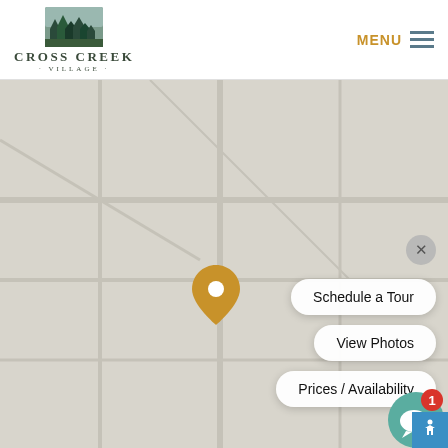[Figure (logo): Cross Creek Village logo with tree/grass illustration and text]
MENU
[Figure (map): A light grey map view with a golden map pin marker indicating the location of Cross Creek Village, with popup action buttons overlay]
Schedule a Tour
View Photos
Prices / Availability
[Figure (infographic): Teal chat/message bubble icon with red notification badge showing number 1]